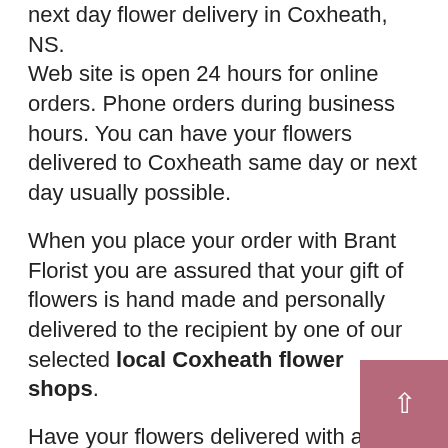next day flower delivery in Coxheath, NS. Web site is open 24 hours for online orders. Phone orders during business hours. You can have your flowers delivered to Coxheath same day or next day usually possible.
When you place your order with Brant Florist you are assured that your gift of flowers is hand made and personally delivered to the recipient by one of our selected local Coxheath flower shops.
Have your flowers delivered with a local florist you can trust! We have been delivering flowers and servicing our customers in Coxheath for over 58 years! Brant Florist is a REAL florist providing Coxheath flower delivery.
Online, around the corner or around the world — we are a top FTD online Coxheath florist. Your flower arrangement will be delivered by a local Florist in Coxheath Nova Scotia.
For your convenience, we have also provided a list of Hospitals in Coxheath, Nova Scotia; Nursing Homes in Coxheath, Nova Scotia; Funeral Homes in Coxheath, Nova